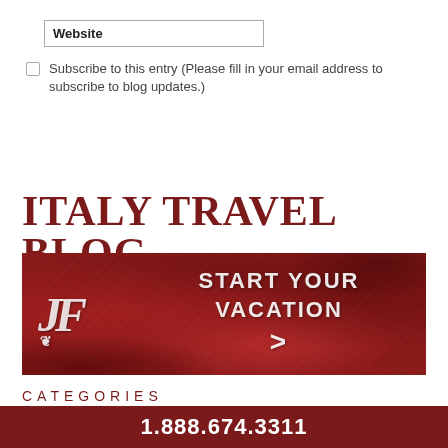Website
Subscribe to this entry (Please fill in your email address to subscribe to blog updates.)
Submit Your Comment
ITALY TRAVEL BLOG
[Figure (illustration): Red textured banner with JF logo on the left and text 'START YOUR VACATION >' on the right in white on a dark red background]
CATEGORIES
1.888.674.3311